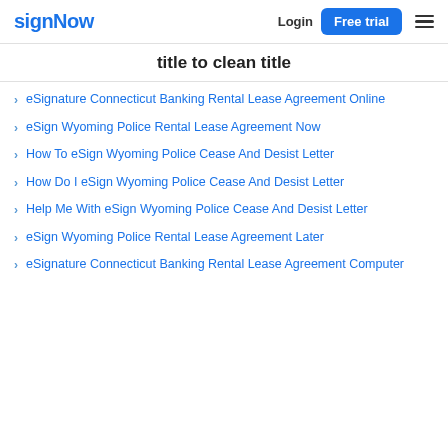signNow  Login  Free trial
title to clean title
eSignature Connecticut Banking Rental Lease Agreement Online
eSign Wyoming Police Rental Lease Agreement Now
How To eSign Wyoming Police Cease And Desist Letter
How Do I eSign Wyoming Police Cease And Desist Letter
Help Me With eSign Wyoming Police Cease And Desist Letter
eSign Wyoming Police Rental Lease Agreement Later
eSignature Connecticut Banking Rental Lease Agreement Computer